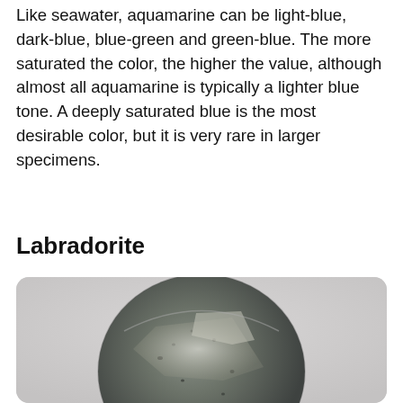Like seawater, aquamarine can be light-blue, dark-blue, blue-green and green-blue. The more saturated the color, the higher the value, although almost all aquamarine is typically a lighter blue tone. A deeply saturated blue is the most desirable color, but it is very rare in larger specimens.
Labradorite
[Figure (photo): A photograph of a labradorite gemstone, round/oval shaped, showing dark gray-green coloring with white/silver labradorescence flash across the surface, set against a light gray background.]